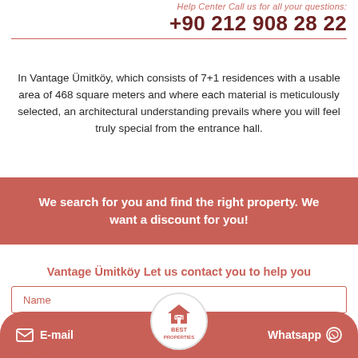Help Center Call us for all your questions:
+90 212 908 28 22
In Vantage Ümitköy, which consists of 7+1 residences with a usable area of 468 square meters and where each material is meticulously selected, an architectural understanding prevails where you will feel truly special from the entrance hall.
We search for you and find the right property. We want a discount for you!
Vantage Ümitköy Let us contact you to help you
Name
E-mail
[Figure (logo): Best Properties logo - house icon with BEST PROPERTIES text]
Whatsapp
Phone